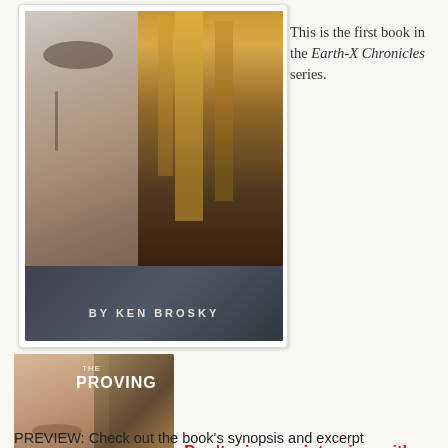[Figure (illustration): Book cover for a sci-fi novel by Ken Brosky, showing a woman's face on the left and a futuristic city skyline on the right. Text at the bottom reads 'BY KEN BROSKY'.]
This is the first book in the Earth-X Chronicles series.
[Figure (photo): Photo of author Ken Brosky overlaid with book cover for 'The Proving'. Shows a man smiling.]
Don't miss our interview with author Ken Brosky.
PREVIEW: Check out the book's synopsis and excerpt